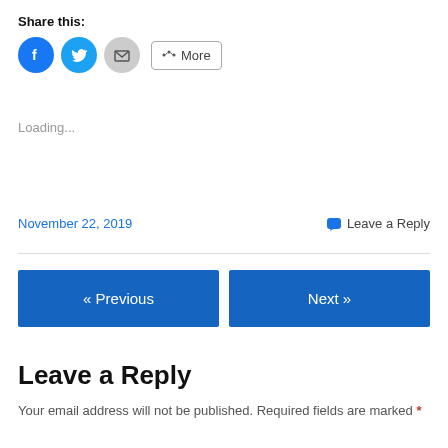Share this:
[Figure (illustration): Social sharing icons: Facebook (blue circle with f), Twitter (blue circle with bird), Email (grey circle with envelope), and a More button with share icon]
Loading...
November 22, 2019
Leave a Reply
[Figure (illustration): Navigation buttons: « Previous (blue) and Next » (blue)]
Leave a Reply
Your email address will not be published. Required fields are marked *